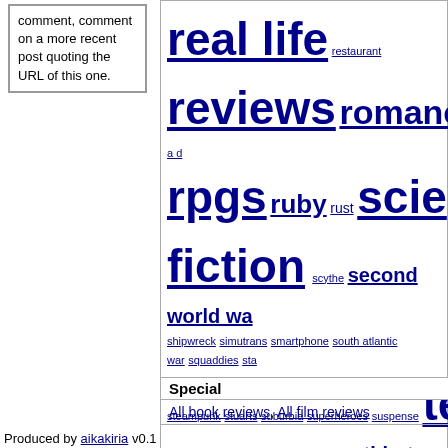comment, comment on a more recent post quoting the URL of this one.
[Figure (other): Tag cloud with words of varying sizes including: real life, restaurant, reviews, romance, rpg a d, rpgs, ruby, rust, science fiction, scythe, second world war, shipwreck, simutrans, smartphone, south atlantic war, squaddies, sta, steampunk, stuarts, suburbia, superheroes, suspense, telev, the resistance, the weekly challenge, thirsty meeple, thriller, tin soldier, torg, toys, trailers, trav, 31, type 45, vietnam war, war, wargaming, we, sweethearts, writing about writing, x-wing, young adult]
Special
All book reviews, All film reviews
Produced by aikakiria v0.1